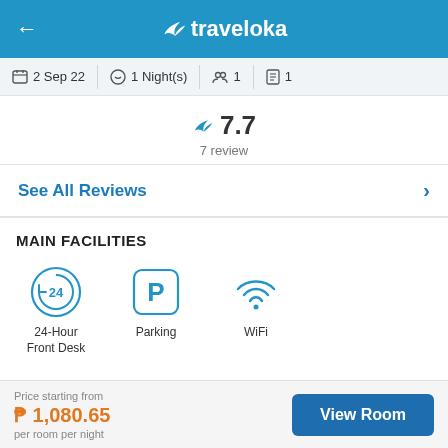traveloka
2 Sep 22 · 1 Night(s) · 1 · 1
7.7
7 review
See All Reviews
MAIN FACILITIES
[Figure (infographic): Three facility icons: 24-Hour Front Desk (circular 24h arrow icon), Parking (P in square), WiFi (wifi signal icon)]
See All Facilities
Price starting from
P 1,080.65
per room per night